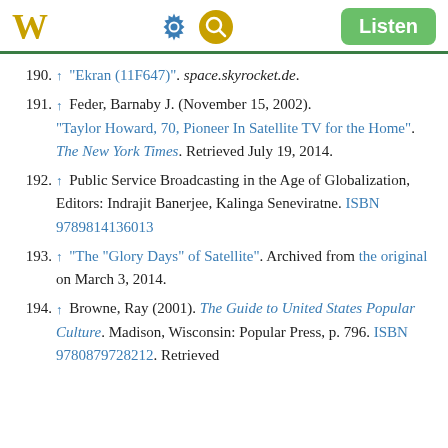W [settings] [search] Listen
190. ↑ "Ekran (11F647)". space.skyrocket.de.
191. ↑ Feder, Barnaby J. (November 15, 2002). "Taylor Howard, 70, Pioneer In Satellite TV for the Home". The New York Times. Retrieved July 19, 2014.
192. ↑ Public Service Broadcasting in the Age of Globalization, Editors: Indrajit Banerjee, Kalinga Seneviratne. ISBN 9789814136013
193. ↑ "The "Glory Days" of Satellite". Archived from the original on March 3, 2014.
194. ↑ Browne, Ray (2001). The Guide to United States Popular Culture. Madison, Wisconsin: Popular Press, p. 796. ISBN 9780879728212. Retrieved